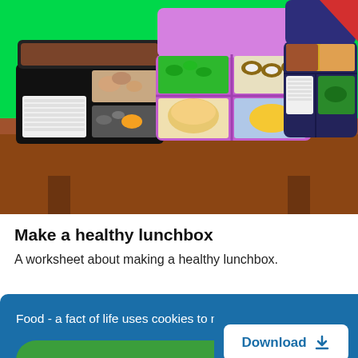[Figure (illustration): Cartoon illustration of bento/lunchboxes on a wooden table against a green background. Shows three open lunchboxes with various compartments containing food items like rice, vegetables, salad, bread. A red triangle badge is visible in the top-right corner.]
Make a healthy lunchbox
A worksheet about making a healthy lunchbox.
Food - a fact of life uses cookies to make the site simpler. Find out more about cookies
I accept
Download